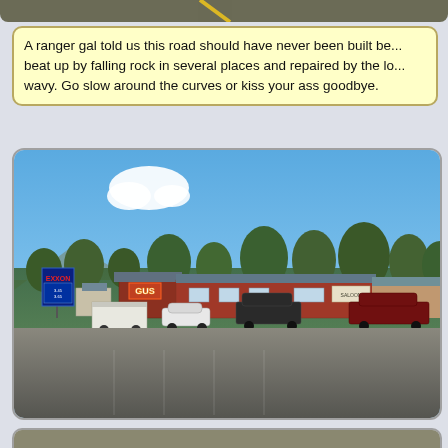[Figure (photo): Top portion of a road photo, showing a paved road with yellow center stripe, cropped at top of page]
A ranger gal told us this road should have never been built be... beat up by falling rock in several places and repaired by the lo... wavy. Go slow around the curves or kiss your ass goodbye.
[Figure (photo): A small town street scene with an Exxon gas station sign on the left, trees in background, rustic western-style buildings including one with a sign reading 'GUS', several parked vehicles including a white RV, white sedan, dark SUV, and dark red sedan, parking lot in foreground, blue sky with a white cloud above]
[Figure (photo): Bottom edge of another photo, partially visible at bottom of page]